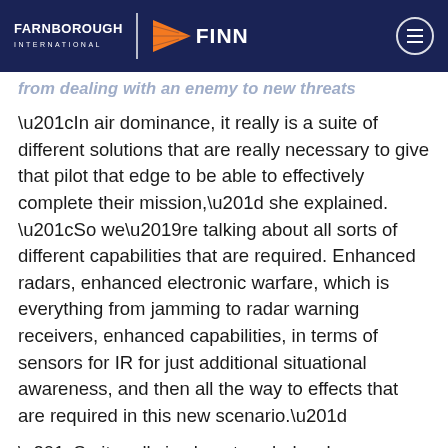FARNBOROUGH INTERNATIONAL | FINN
from dealing with an enemy to new threats
“In air dominance, it really is a suite of different solutions that are really necessary to give that pilot that edge to be able to effectively complete their mission,” she explained. “So we’re talking about all sorts of different capabilities that are required. Enhanced radars, enhanced electronic warfare, which is everything from jamming to radar warning receivers, enhanced capabilities, in terms of sensors for IR for just additional situational awareness, and then all the way to effects that are required in this new scenario.”
“So it really is almost a wholesale advancement, an upgrade of what our pilots currently have to be